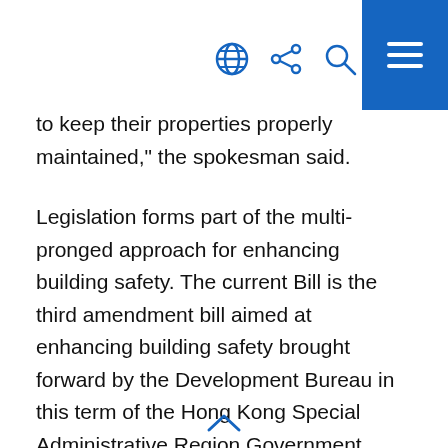[navigation icons: globe, share, search, menu]
to keep their properties properly maintained," the spokesman said.
Legislation forms part of the multi-pronged approach for enhancing building safety. The current Bill is the third amendment bill aimed at enhancing building safety brought forward by the Development Bureau in this term of the Hong Kong Special Administrative Region Government.
"Its implementation, together with the introduction of the Minor Works Control System since December 2010 and the Mandatory Building Inspection Scheme and [Mandatory Window Inspection Scheme in 2012, will…]